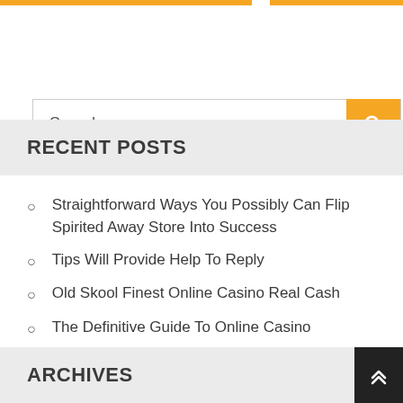Search ...
RECENT POSTS
Straightforward Ways You Possibly Can Flip Spirited Away Store Into Success
Tips Will Provide Help To Reply
Old Skool Finest Online Casino Real Cash
The Definitive Guide To Online Casino
What Shakespeare Can Educate You About Haikyuu Official Merchandise
ARCHIVES